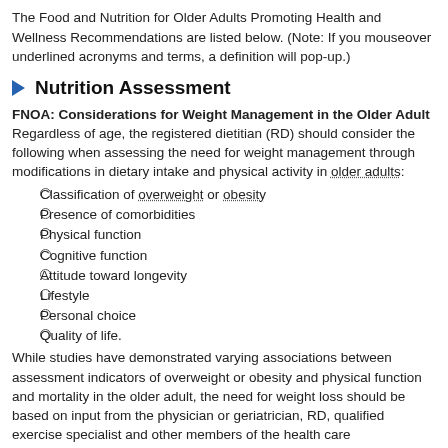The Food and Nutrition for Older Adults Promoting Health and Wellness Recommendations are listed below. (Note: If you mouseover underlined acronyms and terms, a definition will pop-up.)
Nutrition Assessment
FNOA: Considerations for Weight Management in the Older Adult
Regardless of age, the registered dietitian (RD) should consider the following when assessing the need for weight management through modifications in dietary intake and physical activity in older adults:
Classification of overweight or obesity
Presence of comorbidities
Physical function
Cognitive function
Attitude toward longevity
Lifestyle
Personal choice
Quality of life.
While studies have demonstrated varying associations between assessment indicators of overweight or obesity and physical function and mortality in the older adult, the need for weight loss should be based on input from the physician or geriatrician, RD, qualified exercise specialist and other members of the health care